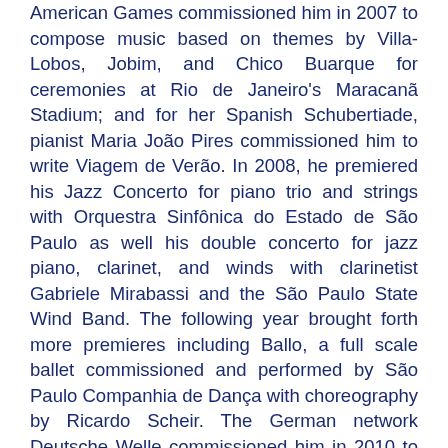American Games commissioned him in 2007 to compose music based on themes by Villa-Lobos, Jobim, and Chico Buarque for ceremonies at Rio de Janeiro's Maracanã Stadium; and for her Spanish Schubertiade, pianist Maria João Pires commissioned him to write Viagem de Verão. In 2008, he premiered his Jazz Concerto for piano trio and strings with Orquestra Sinfônica do Estado de São Paulo as well his double concerto for jazz piano, clarinet, and winds with clarinetist Gabriele Mirabassi and the São Paulo State Wind Band. The following year brought forth more premieres including Ballo, a full scale ballet commissioned and performed by São Paulo Companhia de Dança with choreography by Ricardo Scheir. The German network Deutsche Welle commissioned him in 2010 to create a new work for the Sinfônica Heliópolis, an orchestra organized in one of São Paulo's poorest slums and now one of the world's finest youth orchestras. Mehmari composed Cidade do Sol (City of Sun), a portrait of the orchestra itself, which it premiered at